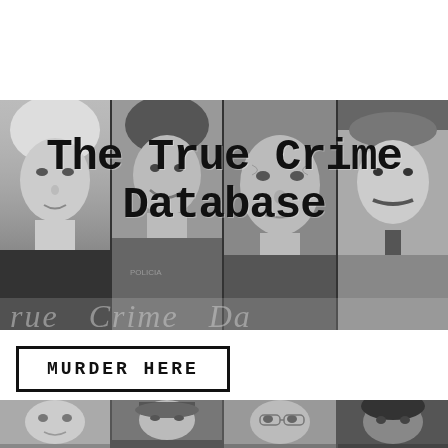[Figure (logo): The True Crime Database logo with black box containing THE, red TRUECRIME text, and black DATABASE text with stylized 3 in place of E]
[Figure (photo): Strip of four black and white mugshot-style photographs of infamous criminals]
The True Crime Database
rue Crime Da
MURDER HERE
[Figure (photo): Bottom strip of black and white photographs of more criminals]